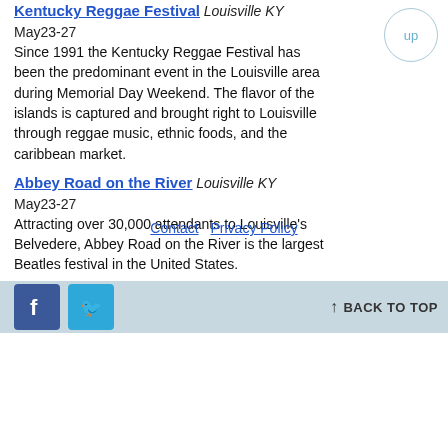Kentucky Reggae Festival Louisville KY May23-27 Since 1991 the Kentucky Reggae Festival has been the predominant event in the Louisville area during Memorial Day Weekend. The flavor of the islands is captured and brought right to Louisville through reggae music, ethnic foods, and the caribbean market.
Abbey Road on the River Louisville KY May23-27 Attracting over 30,000 attendants to Louisville's Belvedere, Abbey Road on the River is the largest Beatles festival in the United States.
Contact  Privacy Policy
BACK TO TOP